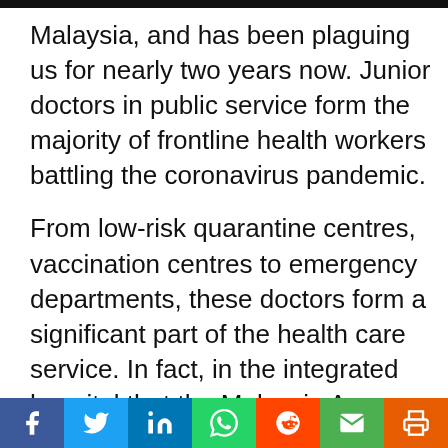Malaysia, and has been plaguing us for nearly two years now. Junior doctors in public service form the majority of frontline health workers battling the coronavirus pandemic.
From low-risk quarantine centres, vaccination centres to emergency departments, these doctors form a significant part of the health care service. In fact, in the integrated hospital that the Malaysia Agro Exposition Park Serdang (MAEPS) has been upgraded to, contract doctors form nearly 100 per cent of the workforce.
There has been much fuss and noise about
Social share buttons: Facebook, Twitter, LinkedIn, WhatsApp, Reddit, Email, Print